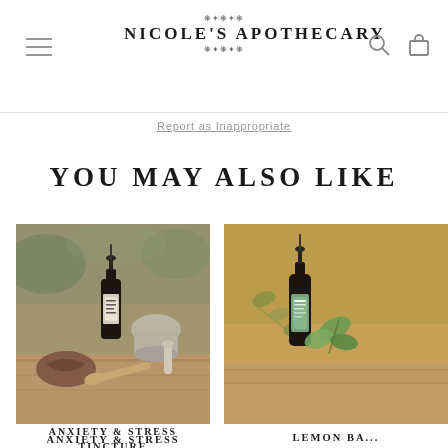Nicole's Apothecary
Report as Inappropriate
YOU MAY ALSO LIKE
[Figure (photo): Product photo of Anxiety & Stress Tincture bottle with mortar and pestle on wooden surface]
ANXIETY & STRESS TINCTURE
from $25
★★★★★ 7 reviews
[Figure (photo): Product photo of Lemon Balm Tincture bottle with herbs on wooden surface]
LEMON BALM TINCTURE
from $16
★★★★★ 3 reviews